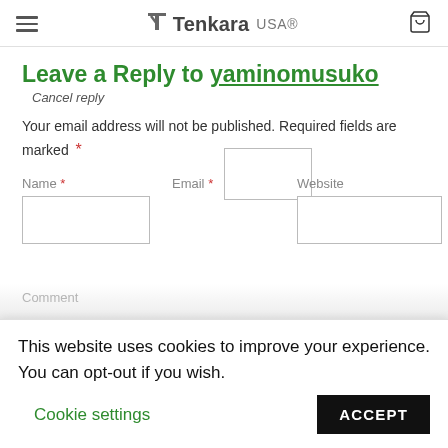TenkaraUSA® — navigation header with hamburger menu and cart icon
Leave a Reply to yaminomusuko  Cancel reply
Your email address will not be published. Required fields are marked *
Name * [input]  Email * [input]  Website [input]
Comment
This website uses cookies to improve your experience. You can opt-out if you wish.   Cookie settings   ACCEPT